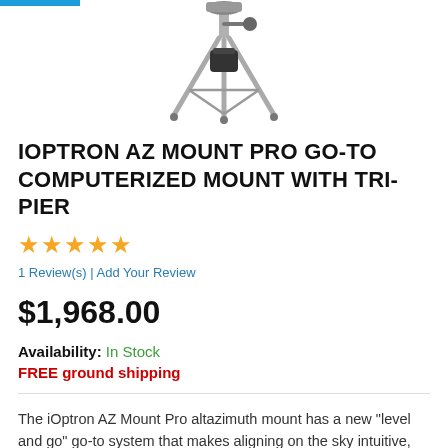[Figure (photo): Product photo of iOptron AZ Mount Pro Go-To computerized mount with tri-pier, showing a tripod/pier mount on white background]
IOPTRON AZ MOUNT PRO GO-TO COMPUTERIZED MOUNT WITH TRI-PIER
★★★★★
1 Review(s) | Add Your Review
$1,968.00
Availability: In Stock
FREE ground shipping
The iOptron AZ Mount Pro altazimuth mount has a new "level and go" go-to system that makes aligning on the sky intuitive, fast, and easy.